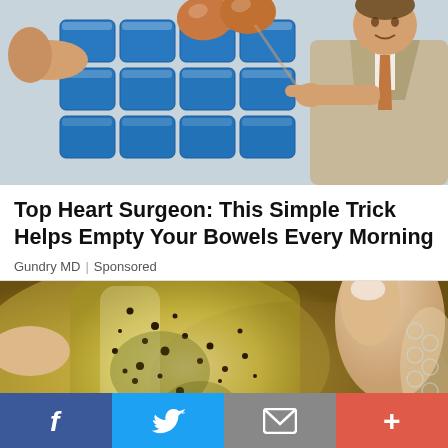[Figure (photo): A man in a suit pointing at eggs held up in front of a stack of blue packages]
Top Heart Surgeon: This Simple Trick Helps Empty Your Bowels Every Morning
Gundry MD | Sponsored
[Figure (photo): Close-up of a gel or food item with dark speckles/seeds, held between fingers]
[Figure (infographic): Social sharing bar with Facebook, Twitter, Email, and More buttons]